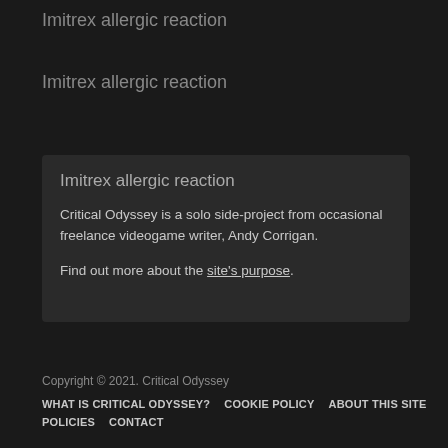Imitrex allergic reaction
Imitrex allergic reaction
Imitrex allergic reaction
Critical Odyssey is a solo side-project from occasional freelance videogame writer, Andy Corrigan.
Find out more about the site's purpose.
Copyright © 2021. Critical Odyssey
WHAT IS CRITICAL ODYSSEY?  COOKIE POLICY  ABOUT THIS SITE  POLICIES  CONTACT